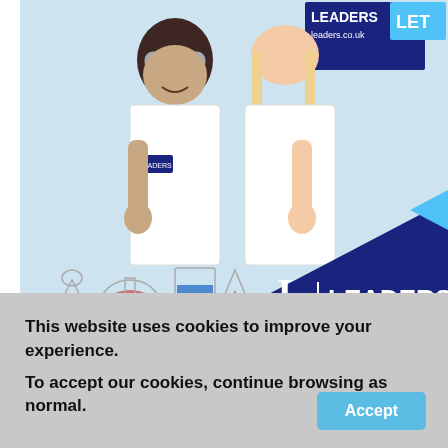[Figure (photo): Two children dressed in white lab coats giving thumbs up, standing in front of a Leaders estate agency sign and board. Lab equipment with colored liquids visible in foreground. Leaders logo with 'L | LEADERS' in blue and white on lower right of image.]
Chief economist at the Nationwide, Robert Gardner, has
This website uses cookies to improve your experience. To accept our cookies, continue browsing as normal.
Accept